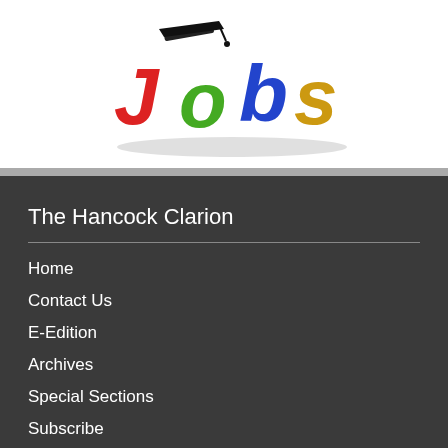[Figure (illustration): Colorful 3D 'Jobs' text with a graduation cap on top. The letters are in red (J), green (o), blue (b), and yellow/gold (s).]
The Hancock Clarion
Home
Contact Us
E-Edition
Archives
Special Sections
Subscribe
COMING SOON!